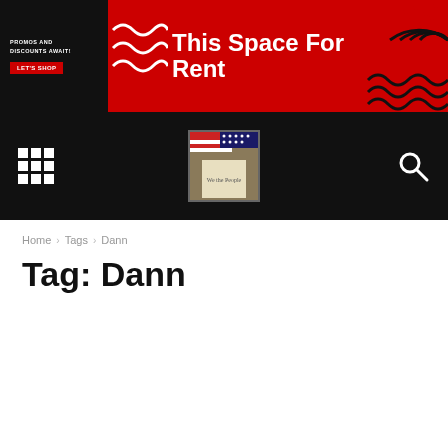[Figure (infographic): Red and black advertisement banner reading 'This Space For Rent' with 'PROMOS AND DISCOUNTS AWAIT!' and 'LET'S SHOP' button, decorative wave patterns]
[Figure (screenshot): Black navigation bar with grid/menu icon on left, center logo image of American flag and document, search icon on right]
Home › Tags › Dann
Tag: Dann